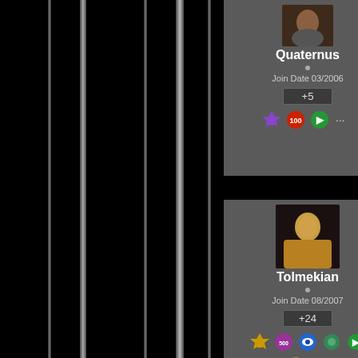[Figure (screenshot): Forum post user card for Quaternus showing avatar, username, join date 03/2006, reputation +5, and badge icons]
I thin inter far h
[Figure (screenshot): Forum post user card for Tolmekian showing avatar, username, join date 08/2007, reputation +24, and badge icons]
Reply
Qu
I th inte whi
I was it wh